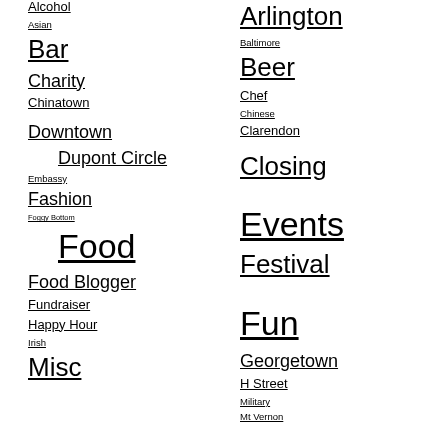Alcohol
Asian
Bar
Charity
Chinatown
Downtown
Dupont Circle
Embassy
Fashion
Foggy Bottom
Food
Food Blogger
Fundraiser
Happy Hour
Irish
Misc
Arlington
Baltimore
Beer
Chef
Chinese
Clarendon
Closing
Events
Festival
Fun
Georgetown
H Street
Military
Mt Vernon